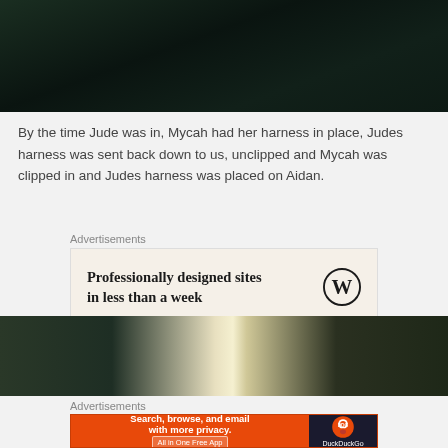[Figure (photo): Dark green/black photo, likely outdoor/nature scene, top of page]
By the time Jude was in, Mycah had her harness in place, Judes harness was sent back down to us, unclipped and Mycah was clipped in and Judes harness was placed on Aidan.
Advertisements
[Figure (screenshot): WordPress advertisement: Professionally designed sites in less than a week]
[Figure (photo): Outdoor photo with bright light/sun between dark areas]
Advertisements
[Figure (screenshot): DuckDuckGo advertisement: Search, browse, and email with more privacy. All in One Free App]